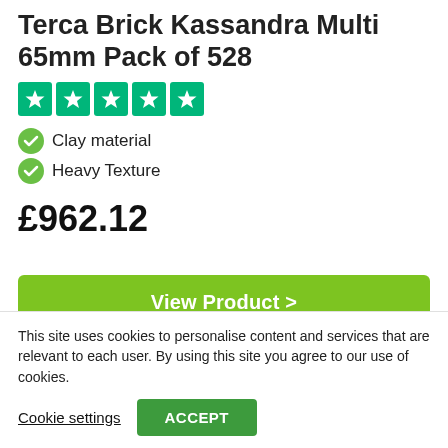Terca Brick Kassandra Multi 65mm Pack of 528
[Figure (other): Trustpilot 5-star rating row with green star boxes]
Clay material
Heavy Texture
£962.12
View Product >
Add to cart
This site uses cookies to personalise content and services that are relevant to each user. By using this site you agree to our use of cookies.
Cookie settings
ACCEPT